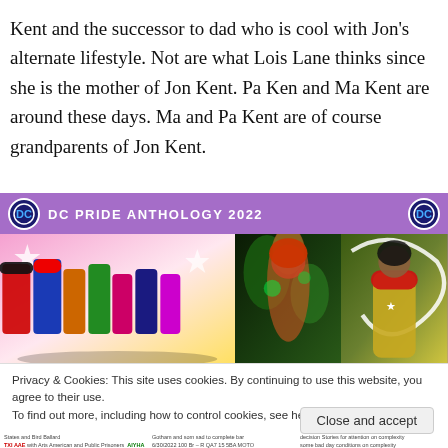Kent and the successor to dad who is cool with Jon's alternate lifestyle. Not are what Lois Lane thinks since she is the mother of Jon Kent. Pa Ken and Ma Kent are around these days. Ma and Pa Kent are of course grandparents of Jon Kent.
[Figure (illustration): DC Pride Anthology 2022 promotional image showing a purple banner with DC logos and the title 'DC PRIDE ANTHOLOGY 2022', with three comic book cover panels below: a colorful group of DC heroes, Poison Ivy, and Wonder Woman.]
Privacy & Cookies: This site uses cookies. By continuing to use this website, you agree to their use.
To find out more, including how to control cookies, see here: Cookie Policy
Close and accept